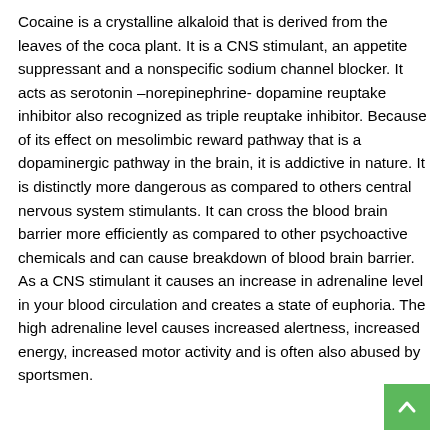Cocaine is a crystalline alkaloid that is derived from the leaves of the coca plant. It is a CNS stimulant, an appetite suppressant and a nonspecific sodium channel blocker. It acts as serotonin –norepinephrine- dopamine reuptake inhibitor also recognized as triple reuptake inhibitor. Because of its effect on mesolimbic reward pathway that is a dopaminergic pathway in the brain, it is addictive in nature. It is distinctly more dangerous as compared to others central nervous system stimulants. It can cross the blood brain barrier more efficiently as compared to other psychoactive chemicals and can cause breakdown of blood brain barrier. As a CNS stimulant it causes an increase in adrenaline level in your blood circulation and creates a state of euphoria. The high adrenaline level causes increased alertness, increased energy, increased motor activity and is often also abused by sportsmen.